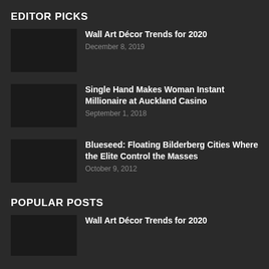EDITOR PICKS
Wall Art Décor Trends for 2020
December 8, 2019
Single Hand Makes Woman Instant Millionaire at Auckland Casino
September 1, 2018
Blueseed: Floating Bilderberg Cities Where the Elite Control the Masses
October 9, 2012
POPULAR POSTS
Wall Art Décor Trends for 2020